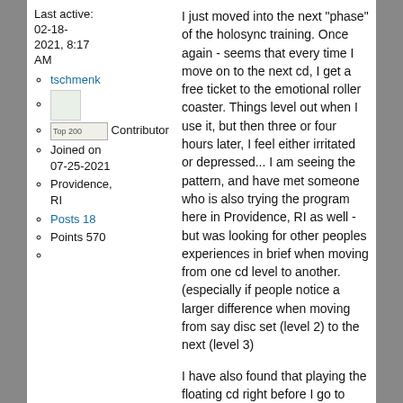Last active: 02-18-2021, 8:17 AM
tschmenk
[user avatar image]
Top 200 Contributor
Joined on 07-25-2021
Providence, RI
Posts 18
Points 570
I just moved into the next "phase" of the holosync training.  Once again - seems that every time I move on to the next cd, I get a free ticket to the emotional roller coaster.  Things level out when I use it, but then three or four hours later, I feel either irritated or depressed...  I am seeing the pattern, and have met someone who is also trying the program here in Providence, RI as well - but was looking for other peoples experiences in brief when moving from one cd level to another. (especially if people notice a larger difference when moving from say disc set (level 2) to the next (level 3)
I have also found that playing the floating cd right before I go to sleep (even without headphones) seems to cause some crazy dreams.  Anyone else try this without the headphones with similar results? or should I just look into buying some medication... :). My wife has